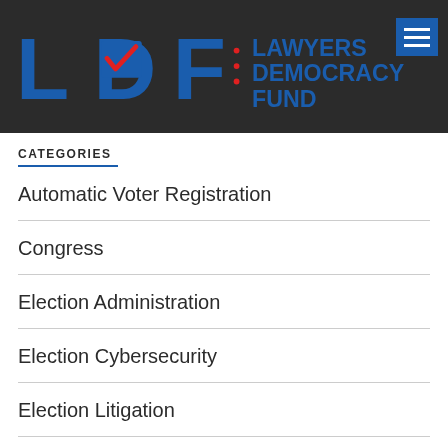[Figure (logo): Lawyers Democracy Fund (LDF) logo with red checkmark and blue text on dark background header]
CATEGORIES
Automatic Voter Registration
Congress
Election Administration
Election Cybersecurity
Election Litigation